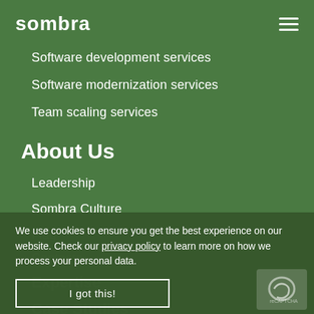sombra
Software development services
Software modernization services
Team scaling services
About Us
Leadership
Sombra Culture
Flag
Contacts
We use cookies to ensure you get the best experience on our website. Check our privacy policy to learn more on how we process your personal data.
Expertise
Case Studies
[Figure (other): reCAPTCHA badge in bottom right corner]